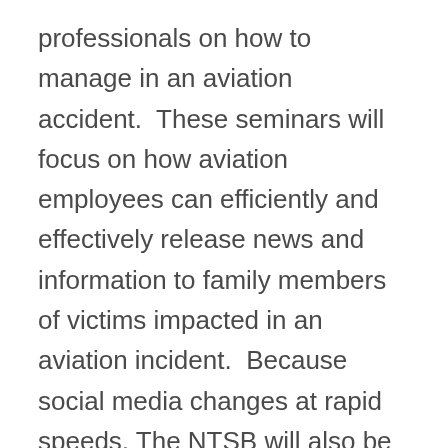professionals on how to manage in an aviation accident.  These seminars will focus on how aviation employees can efficiently and effectively release news and information to family members of victims impacted in an aviation incident.  Because social media changes at rapid speeds, The NTSB will also be discussing the web as an outlet and platform for aviation news.  Officials will also discuss previous accidents and explain how these situations were handled and if they were